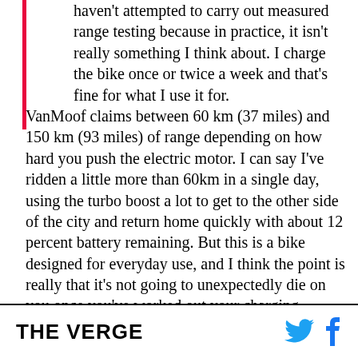haven't attempted to carry out measured range testing because in practice, it isn't really something I think about. I charge the bike once or twice a week and that's fine for what I use it for. VanMoof claims between 60 km (37 miles) and 150 km (93 miles) of range depending on how hard you push the electric motor. I can say I've ridden a little more than 60km in a single day, using the turbo boost a lot to get to the other side of the city and return home quickly with about 12 percent battery remaining. But this is a bike designed for everyday use, and I think the point is really that it's not going to unexpectedly die on you once you've worked out your charging routine. The caveat is how easy that
THE VERGE